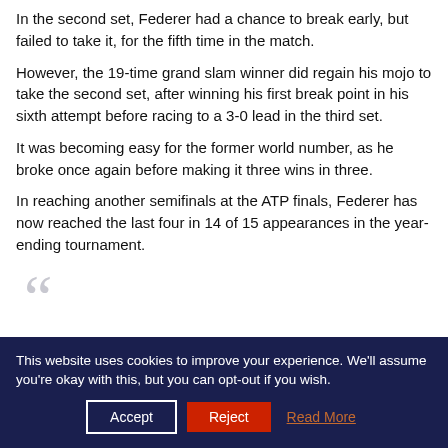In the second set, Federer had a chance to break early, but failed to take it, for the fifth time in the match.
However, the 19-time grand slam winner did regain his mojo to take the second set, after winning his first break point in his sixth attempt before racing to a 3-0 lead in the third set.
It was becoming easy for the former world number, as he broke once again before making it three wins in three.
In reaching another semifinals at the ATP finals, Federer has now reached the last four in 14 of 15 appearances in the year-ending tournament.
[Figure (other): Large decorative open-quote mark in light gray]
This website uses cookies to improve your experience. We'll assume you're okay with this, but you can opt-out if you wish. Accept  Reject  Read More